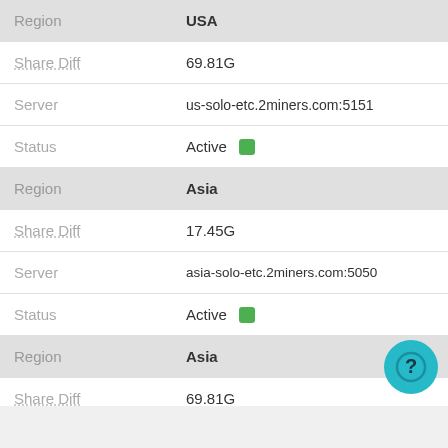| Field | Value |
| --- | --- |
| Region | USA |
| Share Diff | 69.81G |
| Server | us-solo-etc.2miners.com:5151 |
| Status | Active |
| Region | Asia |
| Share Diff | 17.45G |
| Server | asia-solo-etc.2miners.com:5050 |
| Status | Active |
| Region | Asia |
| Share Diff | 69.81G |
| Server | asia-solo-etc.2miners.com:5151 |
| Status | Active |